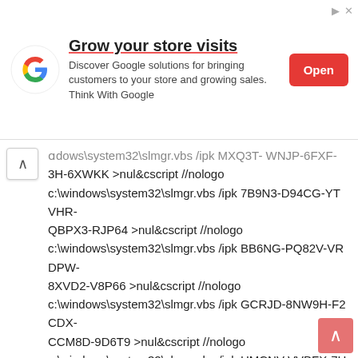[Figure (screenshot): Google advertisement banner with Google logo, headline 'Grow your store visits', body text 'Discover Google solutions for bringing customers to your store and growing sales. Think With Google', and a red 'Open' button. Ad close icons in top right.]
c:\windows\system32\slmgr.vbs /ipk MXQ3T-WNJP-6FXF-3H-6XWKK >nul&cscript //nologo c:\windows\system32\slmgr.vbs /ipk 7B9N3-D94CG-YTVHR-QBPX3-RJP64 >nul&cscript //nologo c:\windows\system32\slmgr.vbs /ipk BB6NG-PQ82V-VRDPW-8XVD2-V8P66 >nul&cscript //nologo c:\windows\system32\slmgr.vbs /ipk GCRJD-8NW9H-F2CDX-CCM8D-9D6T9 >nul&cscript //nologo c:\windows\system32\slmgr.vbs /ipk HMCNV-VVBFX-7HMBH-CTY9B-B4FXY >nul&cscript //nologo c:\windows\system32\slmgr.vbs /ipk 789NJ-TQK6T-6XTH8-J39CJ-J8D3P >nul&cscript //nologo c:\windows\system32\slmgr.vbs /ipk [CLOSE] TX9XD-98N7V-6WMQ6-BX7FG-H8Q99 >nul&cscript //nologo c:\windows\system32\slmgr.vbs /ipk 3KHY7-WNT83-DGQKR-F7HPR-844BM >nul&cscript //nologo c:\windows\system32\slmgr.vbs /ipk 7HNRX-D7KGG-3K4RQ-